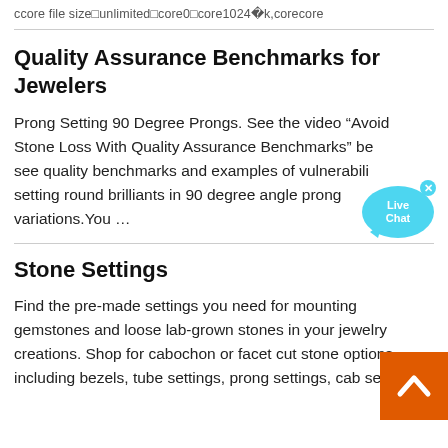ccore file size□unlimited□core0□core1024□1024k,corecore
Quality Assurance Benchmarks for Jewelers
Prong Setting 90 Degree Prongs. See the video "Avoid Stone Loss With Quality Assurance Benchmarks" below to see quality benchmarks and examples of vulnerability for setting round brilliants in 90 degree angle prong variations.You …
Stone Settings
Find the pre-made settings you need for mounting gemstones and loose lab-grown stones in your jewelry creations. Shop for cabochon or facet cut stone options including bezels, tube settings, prong settings, cab settings…
[Figure (illustration): Live Chat speech bubble icon with 'Live Chat' text and a close (x) button, in cyan/blue color]
[Figure (illustration): Orange back-to-top button with white upward arrow chevron]